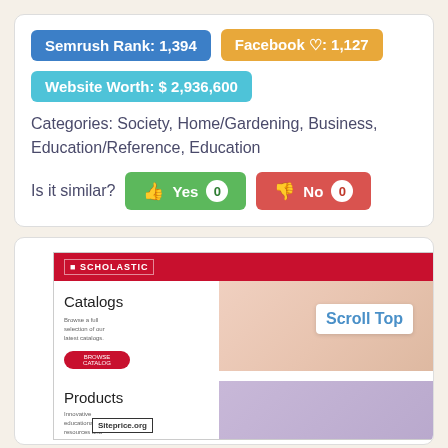Semrush Rank: 1,394
Facebook ♡: 1,127
Website Worth: $ 2,936,600
Categories: Society, Home/Gardening, Business, Education/Reference, Education
Is it similar?  Yes 0  No 0
[Figure (screenshot): Screenshot of Scholastic website showing Catalogs and Products sections with a red navigation bar, catalog browsing image, and purple products section image. Siteprice.org watermark visible. Scroll Top button visible.]